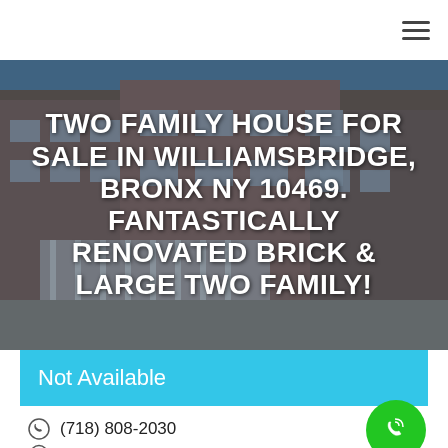[Figure (photo): Hero banner photo of a brick two-family house in the Bronx with white decorative gate, overlaid with large white bold text announcing the property for sale.]
TWO FAMILY HOUSE FOR SALE IN WILLIAMSBRIDGE, BRONX NY 10469. FANTASTICALLY RENOVATED BRICK & LARGE TWO FAMILY!
Not Available
(718) 808-2030
See Map